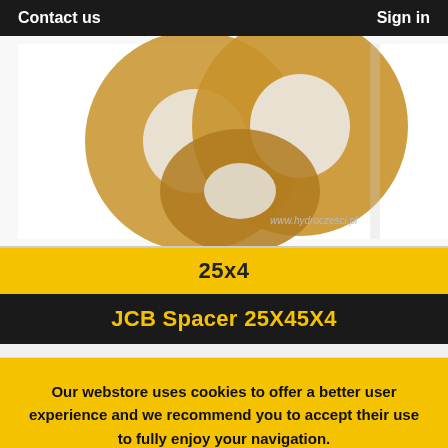Contact us    Sign in
[Figure (photo): Photo of JCB metal washers/spacers (flat rings), gold/yellow zinc plated, stacked together, on white background. Watermark: www.hydroczesci.pl]
25x4
JCB Spacer 25X45X4
Our webstore uses cookies to offer a better user experience and we recommend you to accept their use to fully enjoy your navigation.
Accept   More info   Reject